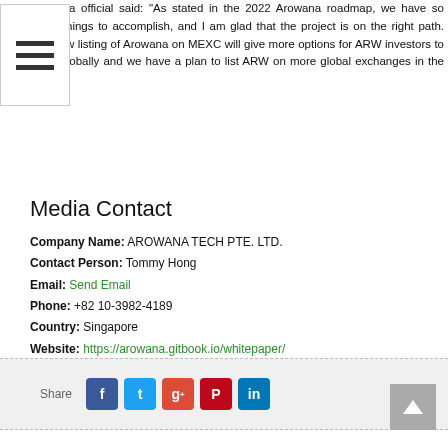Arowana official said: “As stated in the 2022 Arowana roadmap, we have so many things to accomplish, and I am glad that the project is on the right path. The new listing of Arowana on MEXC will give more options for ARW investors to trade globally and we have a plan to list ARW on more global exchanges in the future”
Media Contact
Company Name: AROWANA TECH PTE. LTD.
Contact Person: Tommy Hong
Email: Send Email
Phone: +82 10-3982-4189
Country: Singapore
Website: https://arowana.gitbook.io/whitepaper/
[Figure (infographic): Social share bar with Share label and buttons for Facebook, Twitter, Google+, Pinterest, LinkedIn]